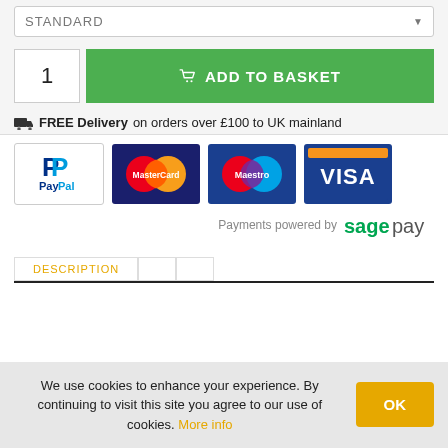STANDARD
1
ADD TO BASKET
FREE Delivery on orders over £100 to UK mainland
[Figure (logo): PayPal, MasterCard, Maestro, and VISA payment logos, with Payments powered by Sage Pay text]
DESCRIPTION
We use cookies to enhance your experience. By continuing to visit this site you agree to our use of cookies. More info